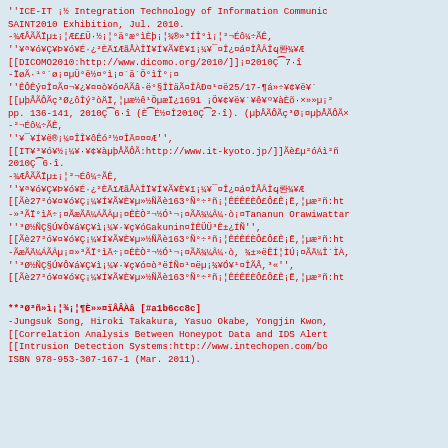''ICE-IT ¡½ Integration Technology of Information Communication'' SAINT2010 Exhibition, Jul. 2010.
-¾ÆÅÃÃÏµ±¡¦Æ££Ü·½¡¦°ä°æ°ìÈþ¡¦¾®»³ÍÎ°ì¡¦²¬Éô¼÷ÃÊ,
''¥ª¥ó¥Ç¥Þ¥ó¥É·¿²ÈÄïÆãÅÀÎÏ¥Í¥Ã¥È¥ï¡¼¥¯¤Î¿¤á¤ÎÅÂÎϥ롼¾¥Æ
[[DICOMO2010:http://www.dicomo.org/2010/]]¡¤2010Ç¯7·î
-ÏøÃ·¹°´ø¡¤µÜ°ë½¤°ì¡¤´ä´Ö°ìÎ°¡¤
''ÊÔÊý¤Î¤Ã¤¬¥¿¥¤¤ò¥ó¤ÄÃâ·ë°§ÎÌäÃ¤ÎÂÐ¤¹¤ë25/17-¶á»÷¥¢¥ë¥´
[[µþÅÃÔÃç³Ø¿ôÎý²òÄÏ,¦µæ½ê¹ÖµæÏ¿1691 ¡Ö¥¢¥ë¥´¥ê¥º¥àÈõ·×»»µ¡²
pp. 136-141, 2010Ç¯6·î (È¯É½¤Î2010Ç¯2·î). (µþÅÃÔÃç³Ø¡¤µþÅÃÔÃ×
-²¬Éô¼÷ÃÊ,
''¥¯¥Í¥ë®¡¼¤ÎÎ¥ôÊó²½¤ÎÄ¤¤¤Æ'',
[[IT¥³¥ó¥½¡¼¥·¥¢¥àµþÅÃÔÃ:http://www.it-kyoto.jp/]]Ãè£µ²óÁì²ñ
2010Ç¯6·î.
-¾ÆÅÃÃÏµ±¡¦²¬Éô¼÷ÃÊ,
''¥ª¥ó¥Ç¥Þ¥ó¥É·¿²ÈÄïÆãÅÀÎÏ¥Í¥Ã¥È¥ï¡¼¥¯¤Î¿¤á¤ÎÅÂÎϥ롼¾¥Æ
[[Ãè27²ó¥¤¥ó¥Ç¡¼¥Í¥Ã¥È¥µ»½ÑÃè163°Ñ°÷²ñ¡¦ÊÉÊÉÈÔ£Ô£Ê¡Ë,¦µæ²ñ:ht
-»³ÃÏ°ìÄ÷¡¤ÃæÃÄ¼ÁÃÂµ¡¤ÊÈÒ²¬½Ó¹¬¡¤ÃÄ¾¼Â¼·ò¡¤Tananun Orawiwattar
''³Ø½ÑÇ§Ú¥Ô¥á¥Ç¥ì¡¼¥·¥ç¥óGakunin¤ÎÊÜÜ³Ê±¿ÍÑ'',
[[Ãè27²ó¥¤¥ó¥Ç¡¼¥Í¥Ã¥È¥µ»½ÑÃè163°Ñ°÷²ñ¡¦ÊÉÊÉÈÔ£Ô£Ê¡Ë,¦µæ²ñ:ht
-ÃæÃÄ¼ÁÃÂµ¡¤»³ÃÏ°ìÄ÷¡¤ÊÈÒ²¬½Ó¹¬¡¤ÃÄ¾¼Â¼·ò, ¾±»ëÊÍ¦ÌÚ¡¤ÃÄ¼Î´ÌÀ,
''³Ø½ÑÇ§Ú¥Ô¥á¥Ç¥ì¡¼¥·¥ç¥ó¤ò³ëÍÑ¤¹¤ëµ¡¾¥Ó¥¹¤ÎÃÅ,³«'',
[[Ãè27²ó¥¤¥ó¥Ç¡¼¥Í¥Ã¥È¥µ»½ÑÃè163°Ñ°÷²ñ¡¦ÊÉÊÉÈÔ£Ô£Ê¡Ë,¦µæ²ñ:ht
**³Ø²ñ»ì¡¦¾¡¦¶È»»¤ïÅÂÀâ [#a1b6cc8c]
-Jungsuk Song, Hiroki Takakura, Yasuo Okabe, Yongjin Kwon,
[[Correlation Analysis Between Honeypot Data and IDS Alert
[[Intrusion Detection Systems:http://www.intechopen.com/bo
ISBN 978-953-307-167-1 (Mar. 2011).